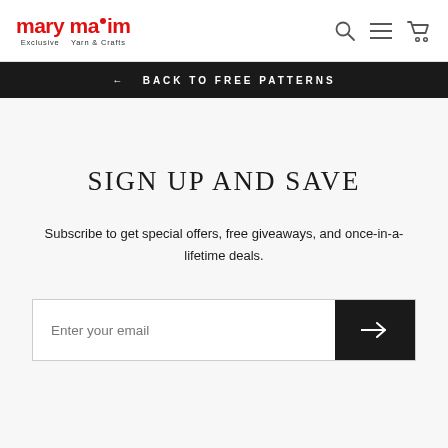mary maxim — Exclusive Yarn & Crafts
← BACK TO FREE PATTERNS
SIGN UP AND SAVE
Subscribe to get special offers, free giveaways, and once-in-a-lifetime deals.
Enter your email